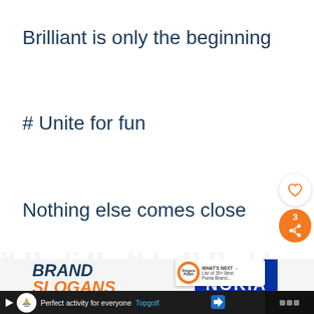Brilliant is only the beginning
# Unite for fun
Nothing else comes close
[Figure (screenshot): Brand Slogans webpage screenshot showing Nokia and brand slogans content, with heart and share widgets on the right, and an ad banner at the bottom for Topgolf]
Perfect activity for everyone  Topgolf